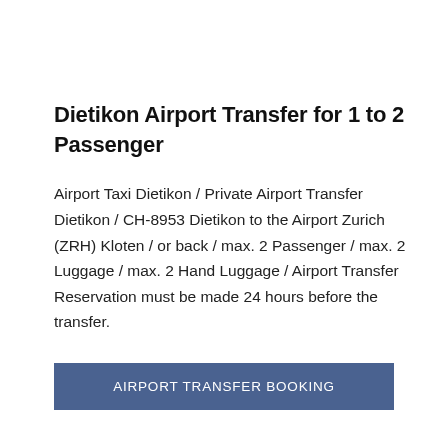Dietikon Airport Transfer for 1 to 2 Passenger
Airport Taxi Dietikon / Private Airport Transfer Dietikon / CH-8953 Dietikon to the Airport Zurich (ZRH) Kloten / or back / max. 2 Passenger / max. 2 Luggage / max. 2 Hand Luggage / Airport Transfer Reservation must be made 24 hours before the transfer.
AIRPORT TRANSFER BOOKING